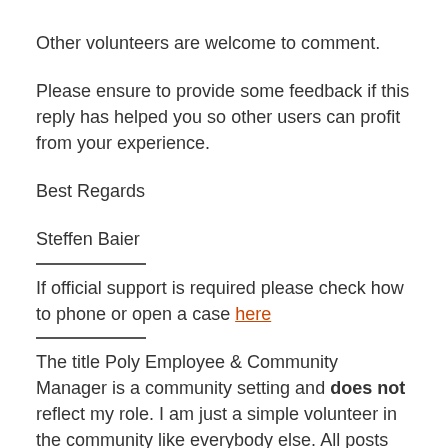Other volunteers are welcome to comment.
Please ensure to provide some feedback if this reply has helped you so other users can profit from your experience.
Best Regards
Steffen Baier
If official support is required please check how to phone or open a case here
The title Poly Employee & Community Manager is a community setting and does not reflect my role. I am just a simple volunteer in the community like everybody else. All posts and